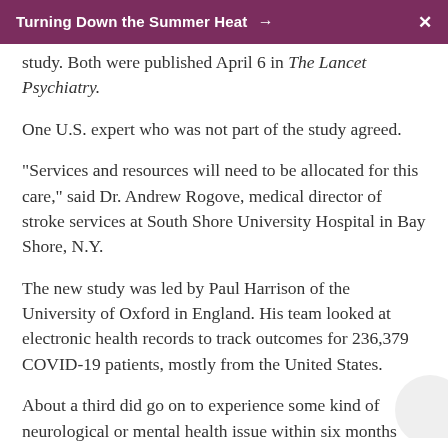Turning Down the Summer Heat →  ✕
study. Both were published April 6 in The Lancet Psychiatry.
One U.S. expert who was not part of the study agreed.
"Services and resources will need to be allocated for this care," said Dr. Andrew Rogove, medical director of stroke services at South Shore University Hospital in Bay Shore, N.Y.
The new study was led by Paul Harrison of the University of Oxford in England. His team looked at electronic health records to track outcomes for 236,379 COVID-19 patients, mostly from the United States.
About a third did go on to experience some kind of neurological or mental health issue within six months